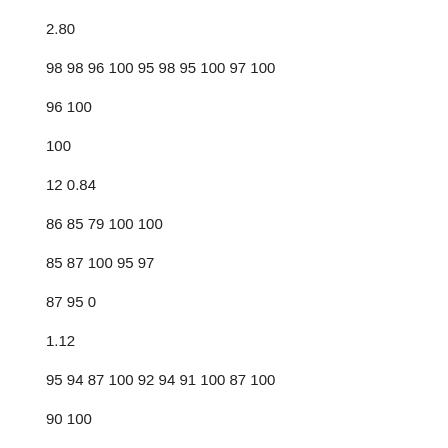2.80
98 98 96 100 95 98 95 100 97 100
96 100
100
12 0.84
86 85 79 100 100
85 87 100 95 97
87 95 0
1.12
95 94 87 100 92 94 91 100 87 100
90 100
100